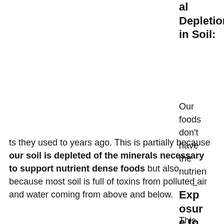al Depletion in Soil:
Our foods don't have the nutrients they used to years ago. This is partially because our soil is depleted of the minerals necessary to support nutrient dense foods but also because most soil is full of toxins from polluted air and water coming from above and below.
–
Exposure to Toxins
This